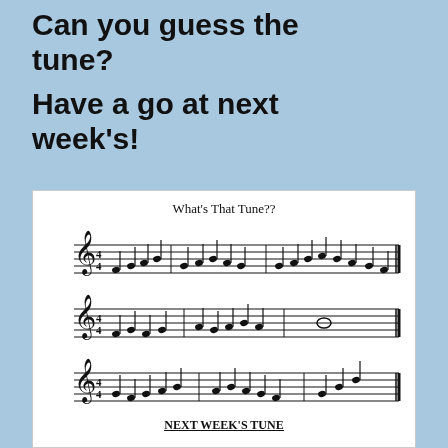Can you guess the tune?
Have a go at next week's!
[Figure (illustration): Sheet music titled 'What's That Tune??' showing three lines of musical notation in 4/4 time with treble clef, containing various quarter notes, half notes, and whole notes across three staves.]
NEXT WEEK'S TUNE